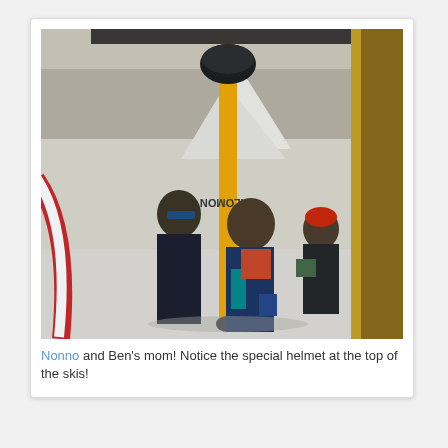[Figure (photo): A photograph of people on a ski slope. In the foreground are two people in ski gear; one holds a yellow Salomon ski upright with a helmet balanced on top. Another person in a red hat stands in the background. There is snow and mountains visible. The photo appears to be a picture of a picture (reflected/displayed).]
Nonno and Ben's mom! Notice the special helmet at the top of the skis!